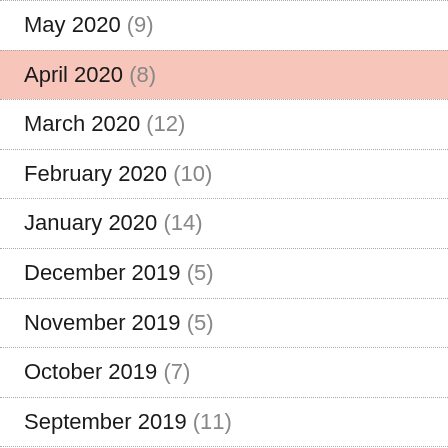May 2020 (9)
April 2020 (8)
March 2020 (12)
February 2020 (10)
January 2020 (14)
December 2019 (5)
November 2019 (5)
October 2019 (7)
September 2019 (11)
August 2019 (6)
June 2017 (1)